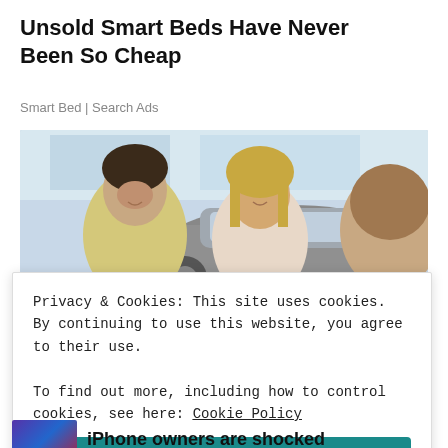Unsold Smart Beds Have Never Been So Cheap
Smart Bed | Search Ads
[Figure (photo): Photo of two people (a man in a yellow polo shirt and a woman with blonde hair) smiling, sitting across from a car salesperson in a car dealership with a grey car visible in the background.]
Privacy & Cookies: This site uses cookies. By continuing to use this website, you agree to their use.
To find out more, including how to control cookies, see here: Cookie Policy
Close and accept
iPhone owners are shocked